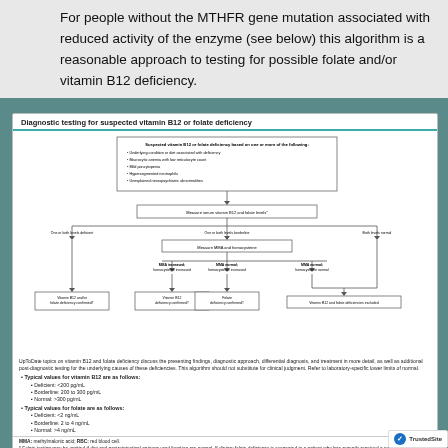For people without the MTHFR gene mutation associated with reduced activity of the enzyme (see below) this algorithm is a reasonable approach to testing for possible folate and/or vitamin B12 deficiency.
[Figure (flowchart): Diagnostic testing for suspected vitamin B12 or folate deficiency flowchart showing decision paths based on serum vitamin B12 and folate levels, MMA and homocysteine measurements, leading to diagnoses of deficiency or exclusion.]
UpToDate topics on vitamin B12 and folate deficiency discuss the presenting findings, diagnostic approach, differential diagnosis, and treatment in more detail, as well as additional post-diagnostic testing for the underlying causes of these deficiencies. This algorithm should not substitute for clinical judgment. Refer to laboratory-specific lower limits of normal.
Typical values for vitamin B12 are as follows:
Deficient: <200 pg/mL
Borderline: 200 to 300 pg/mL
Normal: >300 pg/mL
Typical values for folate are as follows:
Deficient: <2 ng/mL
Borderline: 2 to 4 ng/mL
Normal: >4 ng/mL
MMA: methylmalonic acid; RBC: red blood cell. * Folate testing may be omitted if diet and gastrointestinal anatomy and function are normal. If dietary folate deficiency is suspected in a patient who has recently received a normal meal, RBC folate should be measured instead of serum folate. If one level is deficient and the other is borderline, then it may be necessary to follow more than one diagnostic path (eg, if folate is deficient and vitamin B12 is borderline, then folate deficiency may be confirmed but MMA and homocysteine levels may be measured to determine vitamin B12 status).